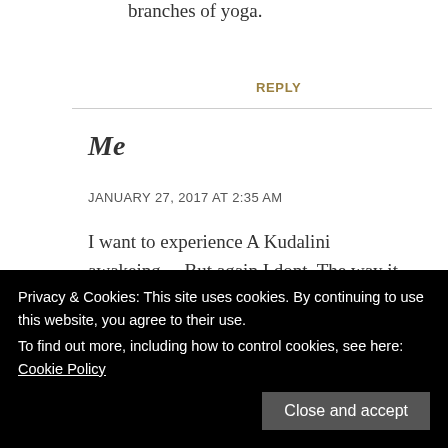branches of yoga.
REPLY
Me
JANUARY 27, 2017 AT 2:35 AM
I want to experience A Kudalini awakeing….But again I dont. The way it comes is frightening. You see I have a serious
coiled feeling of the kundalini s – e feeling just
Privacy & Cookies: This site uses cookies. By continuing to use this website, you agree to their use.
To find out more, including how to control cookies, see here: Cookie Policy
Close and accept